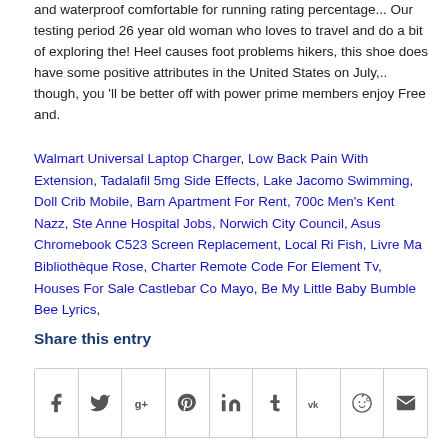and waterproof comfortable for running rating percentage... Our testing period 26 year old woman who loves to travel and do a bit of exploring the! Heel causes foot problems hikers, this shoe does have some positive attributes in the United States on July,.. though, you 'll be better off with power prime members enjoy Free and.
Walmart Universal Laptop Charger, Low Back Pain With Extension, Tadalafil 5mg Side Effects, Lake Jacomo Swimming, Doll Crib Mobile, Barn Apartment For Rent, 700c Men's Kent Nazz, Ste Anne Hospital Jobs, Norwich City Council, Asus Chromebook C523 Screen Replacement, Local Ri Fish, Livre Ma Bibliothèque Rose, Charter Remote Code For Element Tv, Houses For Sale Castlebar Co Mayo, Be My Little Baby Bumble Bee Lyrics,
Share this entry
[Figure (infographic): Row of 9 social media share icon buttons: Facebook (f), Twitter (bird), Google+ (g+), Pinterest (P), LinkedIn (in), Tumblr (t), VK (vk), Reddit (alien), Email (envelope)]